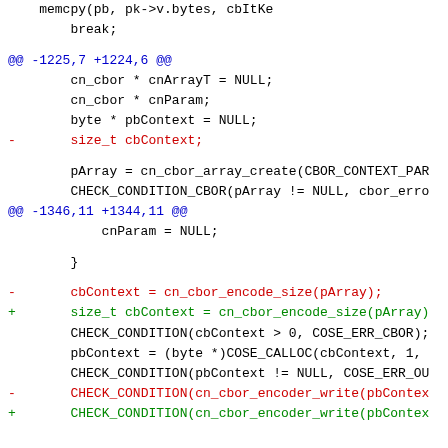memcpy(pb, pk->v.bytes, cbItKe
break;
@@ -1225,7 +1224,6 @@
cn_cbor * cnArrayT = NULL;
cn_cbor * cnParam;
byte * pbContext = NULL;
-       size_t cbContext;
pArray = cn_cbor_array_create(CBOR_CONTEXT_PAR
CHECK_CONDITION_CBOR(pArray != NULL, cbor_erro
@@ -1346,11 +1344,11 @@
cnParam = NULL;
}
-       cbContext = cn_cbor_encode_size(pArray);
+       size_t cbContext = cn_cbor_encode_size(pArray)
CHECK_CONDITION(cbContext > 0, COSE_ERR_CBOR);
pbContext = (byte *)COSE_CALLOC(cbContext, 1,
CHECK_CONDITION(pbContext != NULL, COSE_ERR_OU
-       CHECK_CONDITION(cn_cbor_encoder_write(pbContex
+       CHECK_CONDITION(cn_cbor_encoder_write(pbContex